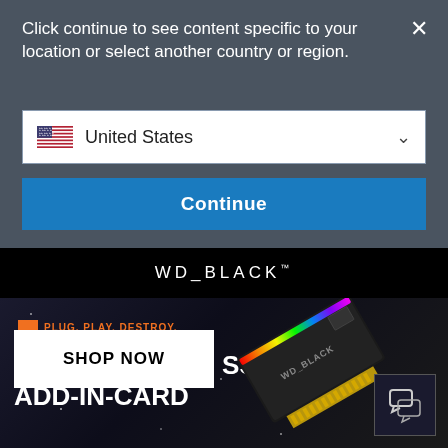Click continue to see content specific to your location or select another country or region.
United States
Continue
WD_BLACK
PLUG. PLAY. DESTROY.
AN1500 NVMe™ SSD ADD-IN-CARD
SHOP NOW